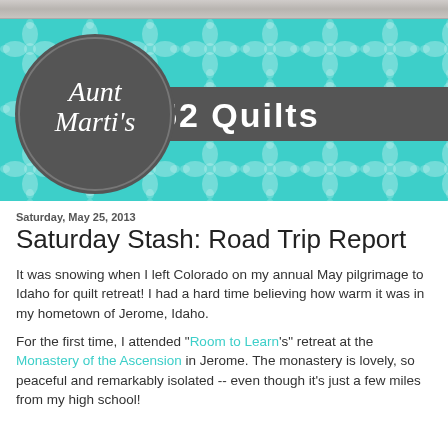Aunt Marti's 52 Quilts
Saturday, May 25, 2013
Saturday Stash: Road Trip Report
It was snowing when I left Colorado on my annual May pilgrimage to Idaho for quilt retreat! I had a hard time believing how warm it was in my hometown of Jerome, Idaho.
For the first time, I attended "Room to Learn's" retreat at the Monastery of the Ascension in Jerome. The monastery is lovely, so peaceful and remarkably isolated -- even though it's just a few miles from my high school!